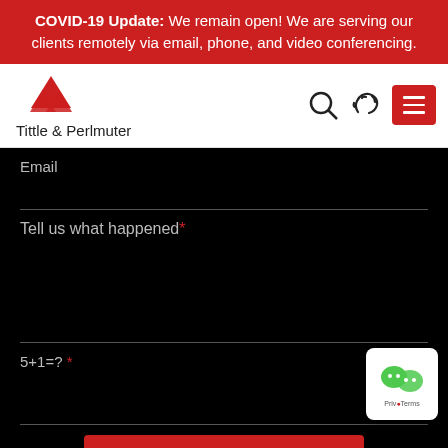COVID-19 Update: We remain open! We are serving our clients remotely via email, phone, and video conferencing.
[Figure (logo): Tittle & Perlmuter law firm logo with red triangle icon and firm name text]
Email
Tell us what happened*
5+1=?*
[Figure (other): Submit button (red background, partially visible)]
[Figure (other): WeChat/privacy badge in bottom right corner]